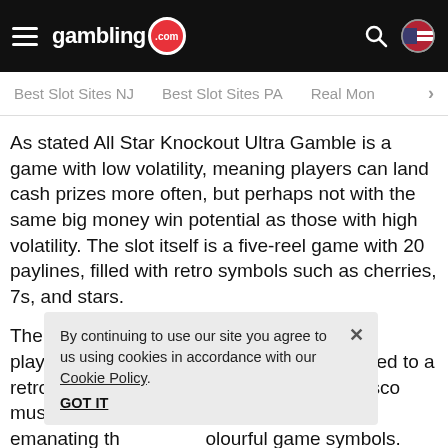gambling.com
Best Slot Sites NJ   Best Slot Sites PA   Real Mon >
As stated All Star Knockout Ultra Gamble is a game with low volatility, meaning players can land cash prizes more often, but perhaps not with the same big money win potential as those with high volatility. The slot itself is a five-reel game with 20 paylines, filled with retro symbols such as cherries, 7s, and stars.
The graphics are enticing in its simplicity as players will feel like they have been teleported to a retro TV set. T... disco music, a talk sh... aesthetically p... emanating th... olourful game symbols. Don't let the simple layout or the low
By continuing to use our site you agree to us using cookies in accordance with our Cookie Policy.
GOT IT